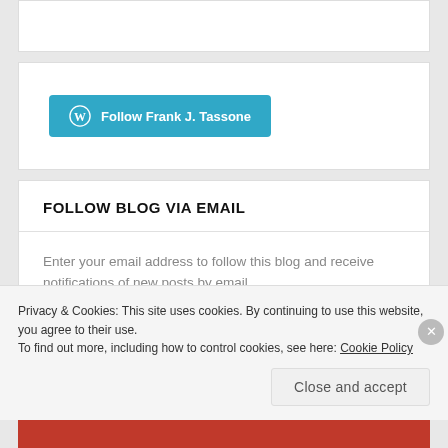[Figure (other): WordPress Follow Frank J. Tassone button in teal/blue color]
FOLLOW BLOG VIA EMAIL
Enter your email address to follow this blog and receive notifications of new posts by email.
FOLLOW
Privacy & Cookies: This site uses cookies. By continuing to use this website, you agree to their use.
To find out more, including how to control cookies, see here: Cookie Policy
Close and accept